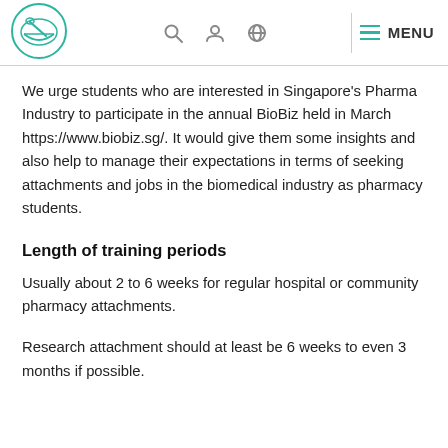PSF logo and navigation menu
We urge students who are interested in Singapore's Pharma Industry to participate in the annual BioBiz held in March https://www.biobiz.sg/. It would give them some insights and also help to manage their expectations in terms of seeking attachments and jobs in the biomedical industry as pharmacy students.
Length of training periods
Usually about 2 to 6 weeks for regular hospital or community pharmacy attachments.
Research attachment should at least be 6 weeks to even 3 months if possible.